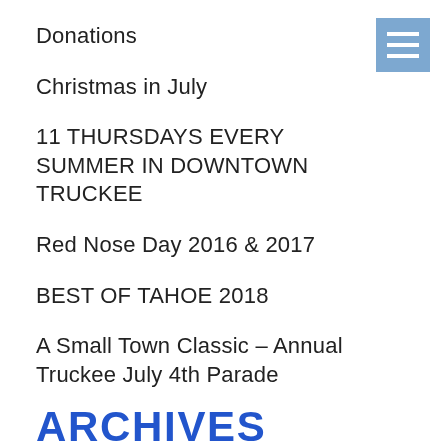[Figure (other): Blue hamburger menu icon button in top right corner]
Donations
Christmas in July
11 THURSDAYS EVERY SUMMER IN DOWNTOWN TRUCKEE
Red Nose Day 2016 & 2017
BEST OF TAHOE 2018
A Small Town Classic – Annual Truckee July 4th Parade
ARCHIVES